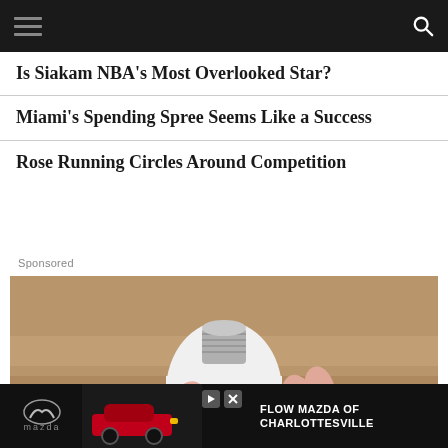[Navigation header with hamburger menu and search icon]
Is Siakam NBA's Most Overlooked Star?
Miami's Spending Spree Seems Like a Success
Rose Running Circles Around Competition
Sponsored
[Figure (photo): Hand holding a white smart light bulb against a wooden background]
[Figure (photo): Mazda advertisement banner: Flow Mazda of Charlottesville]